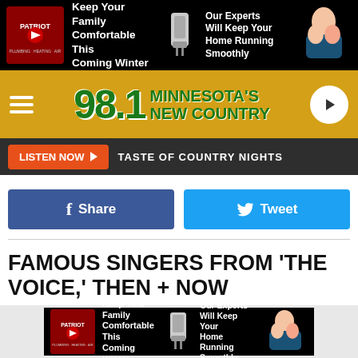[Figure (infographic): Top advertisement banner: Patriot Plumbing Heating & Air ad with text 'Keep Your Family Comfortable This Coming Winter' and 'Our Experts Will Keep Your Home Running Smoothly']
[Figure (logo): 98.1 Minnesota's New Country radio station header with yellow background, green logo text, hamburger menu and play button]
[Figure (infographic): Listen Now button bar with orange button and 'TASTE OF COUNTRY NIGHTS' label on dark background]
[Figure (infographic): Facebook Share button (dark blue) and Twitter Tweet button (light blue) side by side]
FAMOUS SINGERS FROM 'THE VOICE,' THEN + NOW
Ten years (and counting) made a huge difference for many of the most popular singers and stars of The Voice. Blake
[Figure (infographic): Bottom advertisement banner: Patriot Plumbing Heating & Air ad repeated]